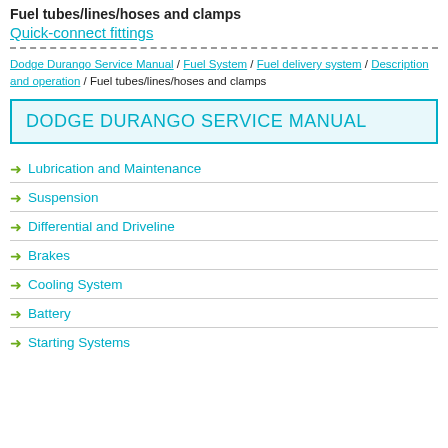Fuel tubes/lines/hoses and clamps
Quick-connect fittings
Dodge Durango Service Manual / Fuel System / Fuel delivery system / Description and operation / Fuel tubes/lines/hoses and clamps
DODGE DURANGO SERVICE MANUAL
Lubrication and Maintenance
Suspension
Differential and Driveline
Brakes
Cooling System
Battery
Starting Systems